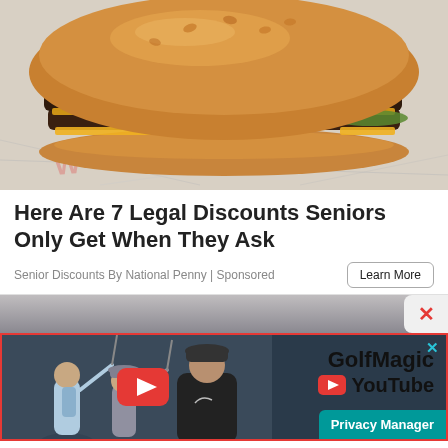[Figure (photo): Photo of a double cheeseburger on a bun, sitting on white crinkled fast-food wrapper paper. The burger has two patties with melted yellow cheese and pickles.]
Here Are 7 Legal Discounts Seniors Only Get When They Ask
Senior Discounts By National Penny | Sponsored
[Figure (screenshot): Partially visible advertisement banner with dark blurred background, with a close/X button visible on the right side.]
[Figure (screenshot): GolfMagic YouTube advertisement banner featuring golfers swinging clubs on the left, a red YouTube play button, and the text 'GolfMagic YouTube' on the right. A 'Privacy Manager' button is shown at the bottom right.]